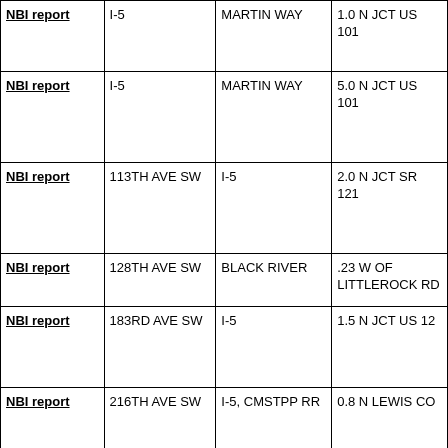| NBI report | I-5 | MARTIN WAY | 1.0 N JCT US 101 |
| NBI report | I-5 | MARTIN WAY | 5.0 N JCT US 101 |
| NBI report | 113TH AVE SW | I-5 | 2.0 N JCT SR 121 |
| NBI report | 128TH AVE SW | BLACK RIVER | .23 W OF LITTLEROCK RD |
| NBI report | 183RD AVE SW | I-5 | 1.5 N JCT US 12 |
| NBI report | 216TH AVE SW | I-5, CMSTPP RR | 0.8 N LEWIS CO |
| NBI report | I-5 | MCALLISTER CR | 2.2 N JCT SR |